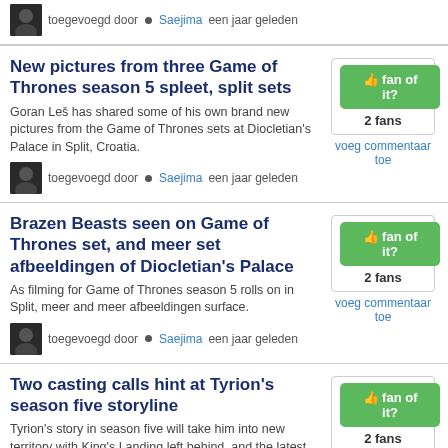toegevoegd door • Saejima een jaar geleden
New pictures from three Game of Thrones season 5 spleet, split sets
Goran Leš has shared some of his own brand new pictures from the Game of Thrones sets at Diocletian's Palace in Split, Croatia.
toegevoegd door • Saejima een jaar geleden
Brazen Beasts seen on Game of Thrones set, and meer set afbeeldingen of Diocletian's Palace
As filming for Game of Thrones season 5 rolls on in Split, meer and meer afbeeldingen surface.
toegevoegd door • Saejima een jaar geleden
Two casting calls hint at Tyrion's season five storyline
Tyrion's story in season five will take him into new territory with King's Landing left behind, and the latest casting calls offer hints as to the turns his journey will take volgende season.
toegevoegd door • Saejima een jaar geleden
Game of Thrones prepares three sets